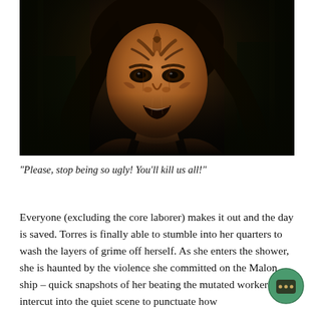[Figure (photo): A dimly lit screenshot from a TV show or film showing a person with alien facial prosthetics — ridged forehead markings visible — with dark hair, appearing distressed or aggressive, in a dark industrial environment.]
"Please, stop being so ugly! You'll kill us all!"
Everyone (excluding the core laborer) makes it out and the day is saved. Torres is finally able to stumble into her quarters to wash the layers of grime off herself. As she enters the shower, she is haunted by the violence she committed on the Malon ship – quick snapshots of her beating the mutated worker are intercut into the quiet scene to punctuate how